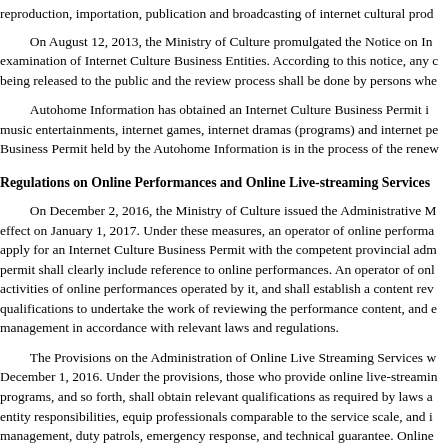reproduction, importation, publication and broadcasting of internet cultural prod...
On August 12, 2013, the Ministry of Culture promulgated the Notice on In... examination of Internet Culture Business Entities. According to this notice, any content being released to the public and the review process shall be done by persons whe...
Autohome Information has obtained an Internet Culture Business Permit i... music entertainments, internet games, internet dramas (programs) and internet pe... Business Permit held by the Autohome Information is in the process of the renew...
Regulations on Online Performances and Online Live-streaming Services
On December 2, 2016, the Ministry of Culture issued the Administrative M... effect on January 1, 2017. Under these measures, an operator of online performa... apply for an Internet Culture Business Permit with the competent provincial adm... permit shall clearly include reference to online performances. An operator of onl... activities of online performances operated by it, and shall establish a content rev... qualifications to undertake the work of reviewing the performance content, and e... management in accordance with relevant laws and regulations.
The Provisions on the Administration of Online Live Streaming Services v... December 1, 2016. Under the provisions, those who provide online live-streamin... programs, and so forth, shall obtain relevant qualifications as required by laws a... entity responsibilities, equip professionals comparable to the service scale, and i... management, duty patrols, emergency response, and technical guarantee. Online... live streaming content. Online live streaming service providers and online live st... without licenses, or exceeding the scope of their licenses, are subject to punishm... the national or local Internet information offices, or even criminal liabilities. Vio...